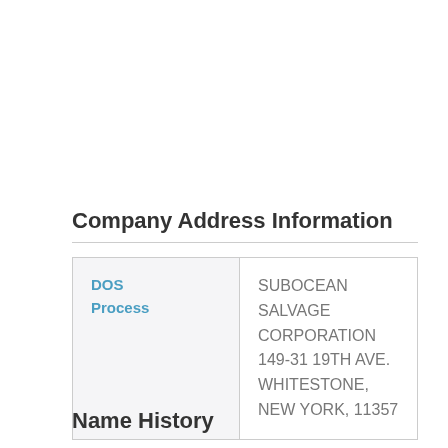Company Address Information
|  |  |
| --- | --- |
| DOS Process | SUBOCEAN SALVAGE CORPORATION 149-31 19TH AVE. WHITESTONE, NEW YORK, 11357 |
Name History